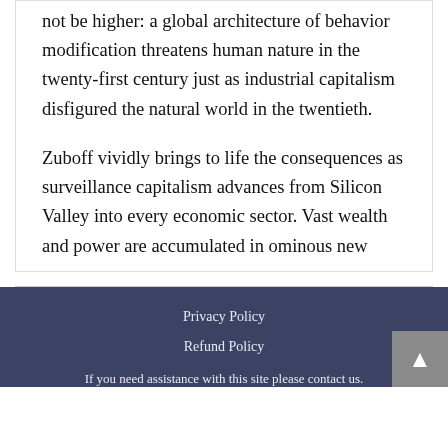not be higher: a global architecture of behavior modification threatens human nature in the twenty-first century just as industrial capitalism disfigured the natural world in the twentieth.

Zuboff vividly brings to life the consequences as surveillance capitalism advances from Silicon Valley into every economic sector. Vast wealth and power are accumulated in ominous new
Privacy Policy
Refund Policy
If you need assistance with this site please contact us.